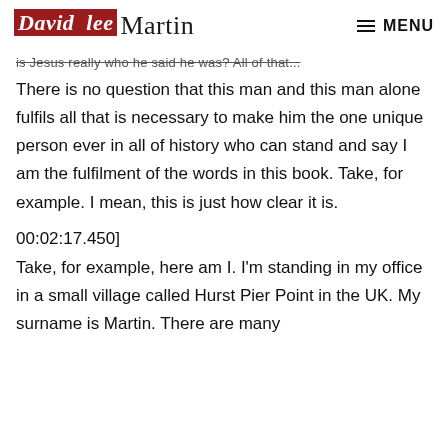David lee Martin  MENU
is Jesus really who he said he was? All of that...
There is no question that this man and this man alone fulfils all that is necessary to make him the one unique person ever in all of history who can stand and say I am the fulfilment of the words in this book. Take, for example. I mean, this is just how clear it is.
00:02:17.450]
Take, for example, here am I. I'm standing in my office in a small village called Hurst Pier Point in the UK. My surname is Martin. There are many